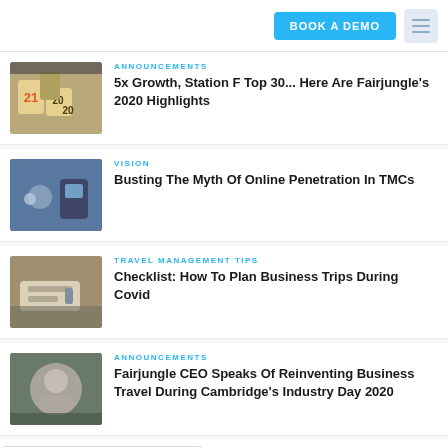BOOK A DEMO
ANNOUNCEMENTS
5x Growth, Station F Top 30... Here Are Fairjungle's 2020 Highlights
VISION
Busting The Myth Of Online Penetration In TMCs
TRAVEL MANAGEMENT TIPS
Checklist: How To Plan Business Trips During Covid
ANNOUNCEMENTS
Fairjungle CEO Speaks Of Reinventing Business Travel During Cambridge's Industry Day 2020
MANAGEMENT TIPS
The Four D's To Reduce Your Business
English